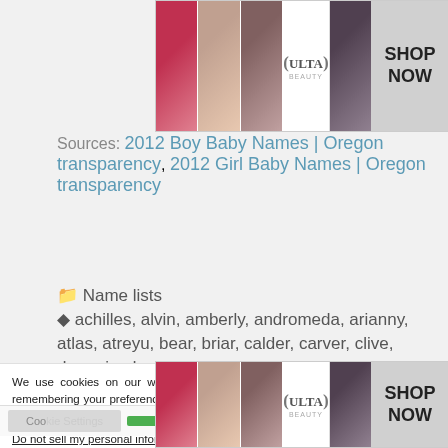[Figure (photo): ULTA beauty advertisement banner with makeup images (lips, brush, eyes) and SHOP NOW button]
Sources: 2012 Boy Baby Names | Oregon transparency, 2012 Girl Baby Names | Oregon transparency
Name lists
achilles, alvin, amberly, andromeda, arianny, atlas, atreyu, bear, briar, calder, carver, clive, damaris, danielle, diem, dutch, ellingon, fern,
We use cookies on our website to give you the most relevant experience by remembering your preferences and repeat visits. By clicking “Accept”, you consent to the use of ALL the cookies.
Do not sell my personal information.
[Figure (photo): ULTA beauty advertisement banner with makeup images (lips, brush, eyes) and SHOP NOW button, bottom]